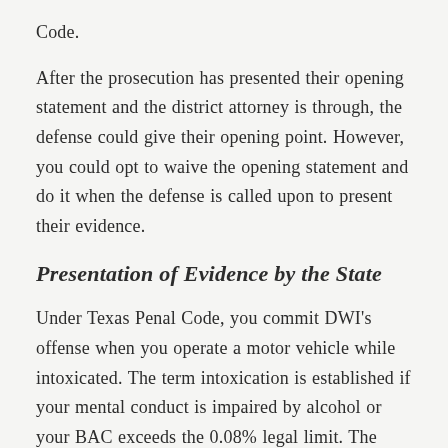Code.
After the prosecution has presented their opening statement and the district attorney is through, the defense could give their opening point. However, you could opt to waive the opening statement and do it when the defense is called upon to present their evidence.
Presentation of Evidence by the State
Under Texas Penal Code, you commit DWI's offense when you operate a motor vehicle while intoxicated. The term intoxication is established if your mental conduct is impaired by alcohol or your BAC exceeds the 0.08% legal limit. The definition of intoxication considers the...